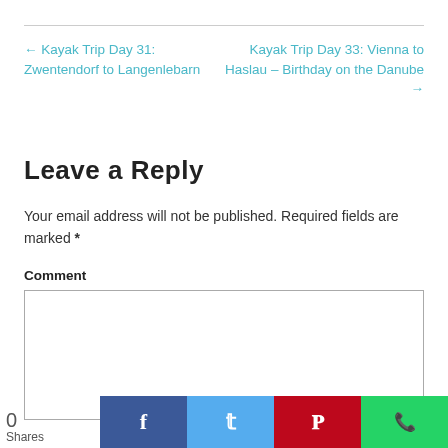← Kayak Trip Day 31: Zwentendorf to Langenlebarn
Kayak Trip Day 33: Vienna to Haslau – Birthday on the Danube →
Leave a Reply
Your email address will not be published. Required fields are marked *
Comment
0
Shares